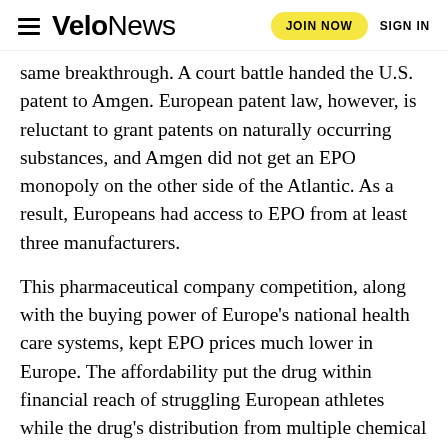VeloNews | JOIN NOW | SIGN IN
same breakthrough. A court battle handed the U.S. patent to Amgen. European patent law, however, is reluctant to grant patents on naturally occurring substances, and Amgen did not get an EPO monopoly on the other side of the Atlantic. As a result, Europeans had access to EPO from at least three manufacturers.
This pharmaceutical company competition, along with the buying power of Europe’s national health care systems, kept EPO prices much lower in Europe. The affordability put the drug within financial reach of struggling European athletes while the drug’s distribution from multiple chemical manufacturers may have created more opportunities for gray market product leakage. According to Alessandro Donati, an Italian sports professor and doping investigator, data from the sales of performance-enhancing drugs in Italy show that of 181 million